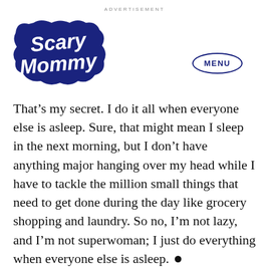ADVERTISEMENT
[Figure (logo): Scary Mommy logo — stylized cursive white text on a dark navy cloud/blob shape]
MENU
That’s my secret. I do it all when everyone else is asleep. Sure, that might mean I sleep in the next morning, but I don’t have anything major hanging over my head while I have to tackle the million small things that need to get done during the day like grocery shopping and laundry. So no, I’m not lazy, and I’m not superwoman; I just do everything when everyone else is asleep. ●